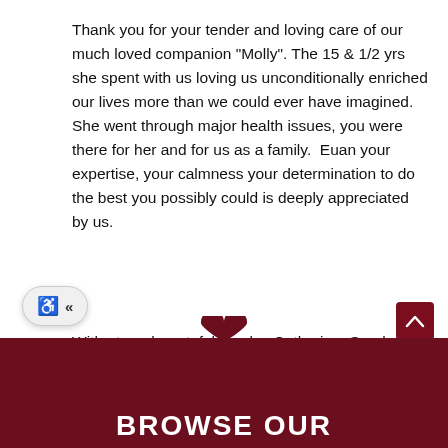Thank you for your tender and loving care of our much loved companion "Molly". The 15 & 1/2 yrs she spent with us loving us unconditionally enriched our lives more than we could ever have imagined. She went through major health issues, you were there for her and for us as a family.  Euan your expertise, your calmness your determination to do the best you possibly could is deeply appreciated by us.
With eternal, grateful thanks, Catherine, Sarah, Helen and Mathew 10/2016
BROWSE OUR